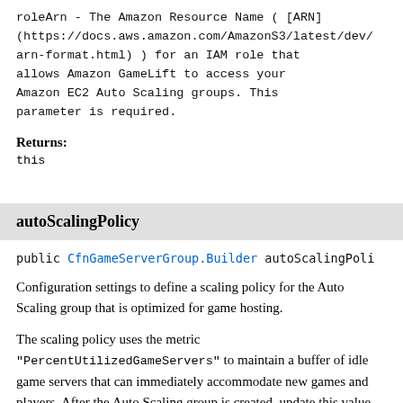roleArn - The Amazon Resource Name ( [ARN] (https://docs.aws.amazon.com/AmazonS3/latest/dev/arn-format.html) ) for an IAM role that allows Amazon GameLift to access your Amazon EC2 Auto Scaling groups. This parameter is required.
Returns: this
autoScalingPolicy
public CfnGameServerGroup.Builder autoScalingPoli...
Configuration settings to define a scaling policy for the Auto Scaling group that is optimized for game hosting.
The scaling policy uses the metric "PercentUtilizedGameServers" to maintain a buffer of idle game servers that can immediately accommodate new games and players. After the Auto Scaling group is created, update this value